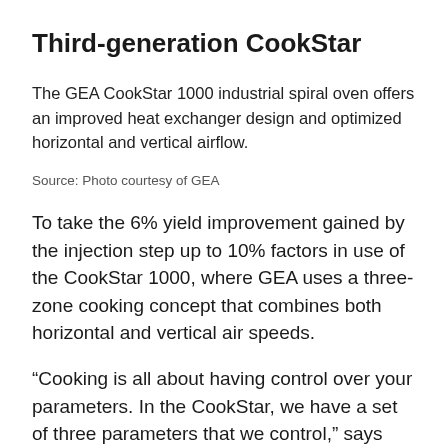Third-generation CookStar
The GEA CookStar 1000 industrial spiral oven offers an improved heat exchanger design and optimized horizontal and vertical airflow.
Source: Photo courtesy of GEA
To take the 6% yield improvement gained by the injection step up to 10% factors in use of the CookStar 1000, where GEA uses a three-zone cooking concept that combines both horizontal and vertical air speeds.
“Cooking is all about having control over your parameters. In the CookStar, we have a set of three parameters that we control,” says Luuc